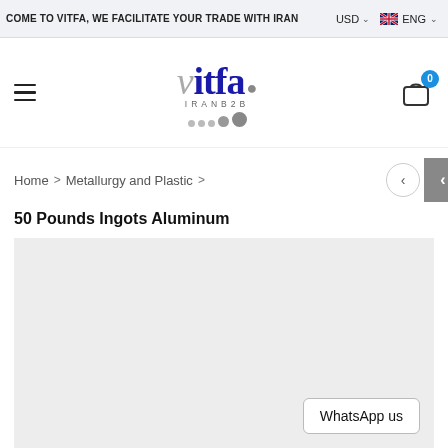COME TO VITFA, WE FACILITATE YOUR TRADE WITH IRAN   USD   ENG
[Figure (logo): Vitfa IranB2B logo with stylized text and dots]
Home > Metallurgy and Plastic > 50 Pounds Ingots Aluminum
50 Pounds Ingots Aluminum
[Figure (photo): Product image area for 50 Pounds Ingots Aluminum (empty/loading gray box)]